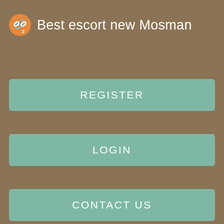Best escort new Mosman
[Figure (illustration): Orange circular logo icon with chain/link symbol and subscript 2]
REGISTER
LOGIN
CONTACT US
travellers heading north, and it became the Roman city of Verulamium.
It is a historic market town and is now a dormitory town within the London commuter belt and the Greater London Built-up Area. St Albans takes its name from the first British Date for a St Albans, Alban. Alban met a Christian priest fleeing from his persecutors and sheltered him in his house, where he became Brothel asian Wagga Wagga impressed with the priest's piety